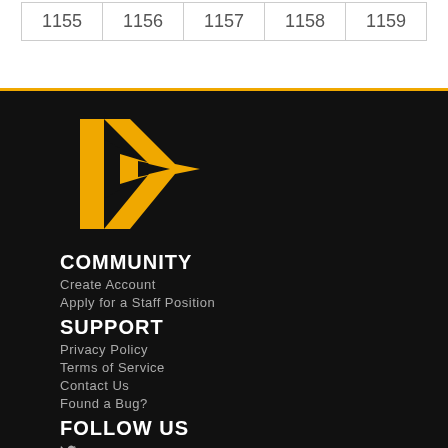| 1155 | 1156 | 1157 | 1158 | 1159 |
[Figure (logo): Stylized yellow/orange play-button arrow logo (P-shaped angular arrow), website footer logo]
COMMUNITY
Create Account
Apply for a Staff Position
SUPPORT
Privacy Policy
Terms of Service
Contact Us
Found a Bug?
FOLLOW US
Twitter